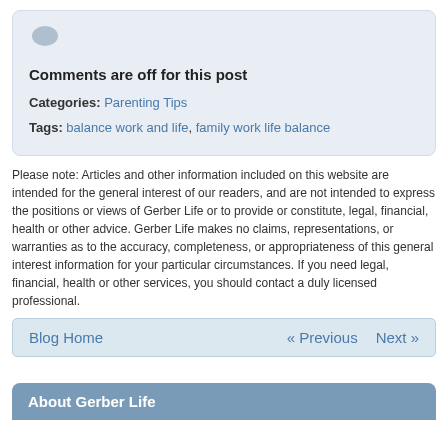[Figure (other): Speech bubble / comment icon in light grey-blue color]
Comments are off for this post
Categories: Parenting Tips
Tags: balance work and life, family work life balance
Please note: Articles and other information included on this website are intended for the general interest of our readers, and are not intended to express the positions or views of Gerber Life or to provide or constitute, legal, financial, health or other advice. Gerber Life makes no claims, representations, or warranties as to the accuracy, completeness, or appropriateness of this general interest information for your particular circumstances. If you need legal, financial, health or other services, you should contact a duly licensed professional.
Blog Home  « Previous  Next »
About Gerber Life